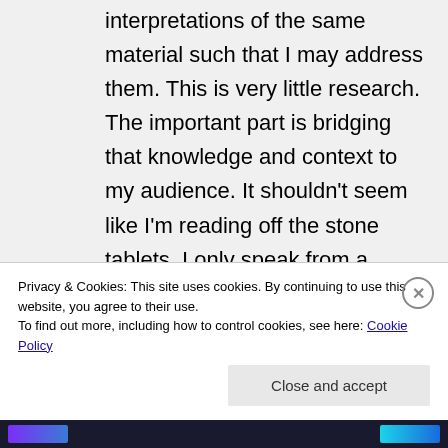interpretations of the same material such that I may address them. This is very little research. The important part is bridging that knowledge and context to my audience. It shouldn't seem like I'm reading off the stone tablets. I only speak from a position of logical authority, which allows people to understand appropriately the scale of what I'm discussing and clearly see what is definitive truth and what is not. This is the C+B about what's being said
Privacy & Cookies: This site uses cookies. By continuing to use this website, you agree to their use. To find out more, including how to control cookies, see here: Cookie Policy
Close and accept